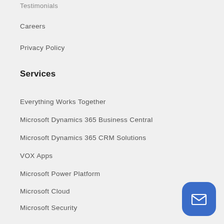Testimonials
Careers
Privacy Policy
Services
Everything Works Together
Microsoft Dynamics 365 Business Central
Microsoft Dynamics 365 CRM Solutions
VOX Apps
Microsoft Power Platform
Microsoft Cloud
Microsoft Security
Migration To Dynamics 365
Manufacturing Application
VOX ISM Consulting Services